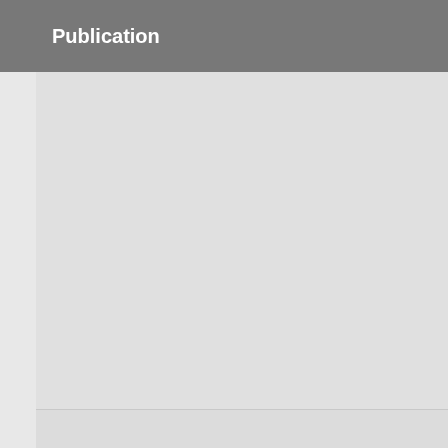Publication
Friedman, L. 2017. Scientists Fear Trump Will Dismiss Blunt Climate Report. Th